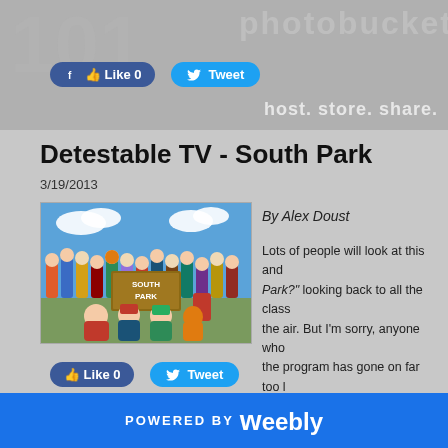[Figure (screenshot): Top banner with photobucket watermark logo and 'host. store. share.' tagline on grey background]
[Figure (other): Facebook Like button (Like 0) and Twitter Tweet button in blue rounded pill shapes]
Detestable TV - South Park
3/19/2013
[Figure (photo): South Park animated TV show promotional image showing characters including Cartman, Stan, Kyle, Kenny and many others with a South Park sign]
By Alex Doust
Lots of people will look at this and say "Detestable South Park?" looking back to all the class... the air. But I'm sorry, anyone who... the program has gone on far too l...
[Figure (other): Facebook Like button (Like 0) and Twitter Tweet button in blue rounded pill shapes]
POWERED BY weebly